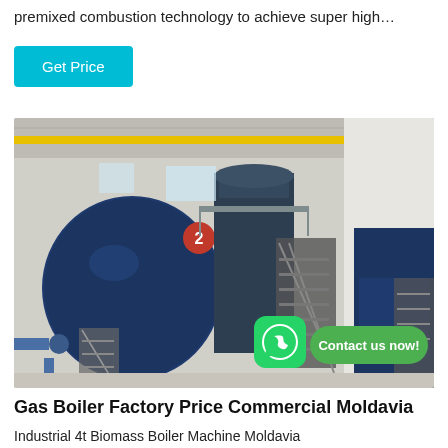premixed combustion technology to achieve super high…
Get Price
[Figure (photo): Industrial boiler facility interior showing large blue cylindrical gas boilers with metal staircases, yellow piping, and a WhatsApp contact button overlay reading 'Contact us now!']
Gas Boiler Factory Price Commercial Moldavia
Industrial 4t Biomass Boiler Machine Moldavia